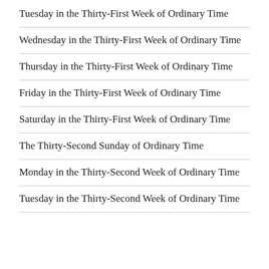Tuesday in the Thirty-First Week of Ordinary Time
Wednesday in the Thirty-First Week of Ordinary Time
Thursday in the Thirty-First Week of Ordinary Time
Friday in the Thirty-First Week of Ordinary Time
Saturday in the Thirty-First Week of Ordinary Time
The Thirty-Second Sunday of Ordinary Time
Monday in the Thirty-Second Week of Ordinary Time
Tuesday in the Thirty-Second Week of Ordinary Time